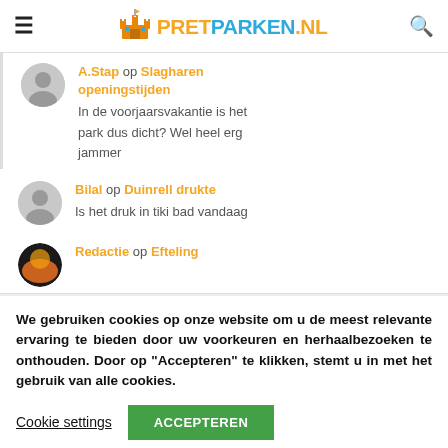PRETPARKEN.NL
A.Stap op Slagharen openingstijden
In de voorjaarsvakantie is het park dus dicht? Wel heel erg jammer
Bilal op Duinrell drukte
Is het druk in tiki bad vandaag
Redactie op Efteling
We gebruiken cookies op onze website om u de meest relevante ervaring te bieden door uw voorkeuren en herhaalbezoeken te onthouden. Door op "Accepteren" te klikken, stemt u in met het gebruik van alle cookies.
Cookie settings
ACCEPTEREN